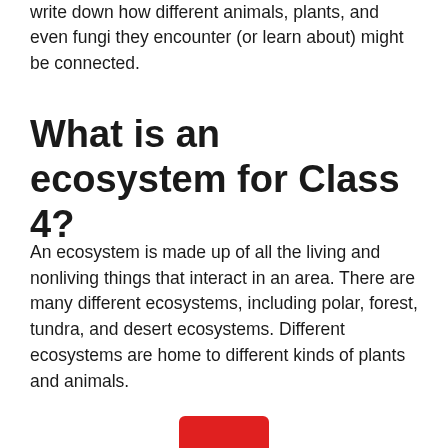write down how different animals, plants, and even fungi they encounter (or learn about) might be connected.
What is an ecosystem for Class 4?
An ecosystem is made up of all the living and nonliving things that interact in an area. There are many different ecosystems, including polar, forest, tundra, and desert ecosystems. Different ecosystems are home to different kinds of plants and animals.